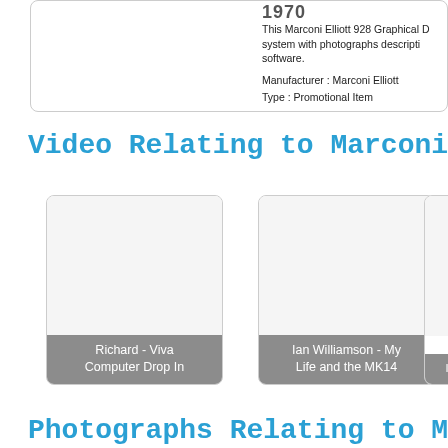1970
This Marconi Elliott 928 Graphical D... system with photographs descriptions software.
Manufacturer : Marconi Elliott
Type : Promotional Item
Video Relating to Marconi
[Figure (photo): Video thumbnail card: Richard - Viva Computer Drop In]
[Figure (photo): Video thumbnail card: Ian Williamson - My Life and the MK14]
[Figure (photo): Video thumbnail card: partially visible, Ian...]
Photographs Relating to M